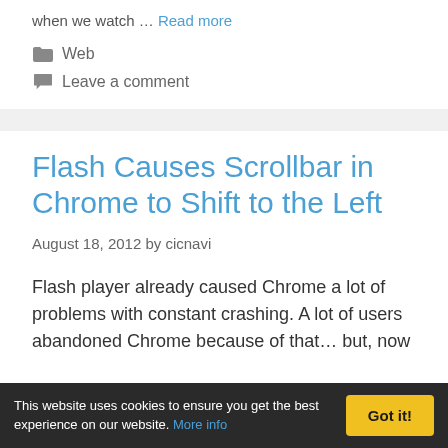when we watch ... Read more
Web
Leave a comment
Flash Causes Scrollbar in Chrome to Shift to the Left
August 18, 2012 by cicnavi
Flash player already caused Chrome a lot of problems with constant crashing. A lot of users abandoned Chrome because of that... but, now
This website uses cookies to ensure you get the best experience on our website. More info